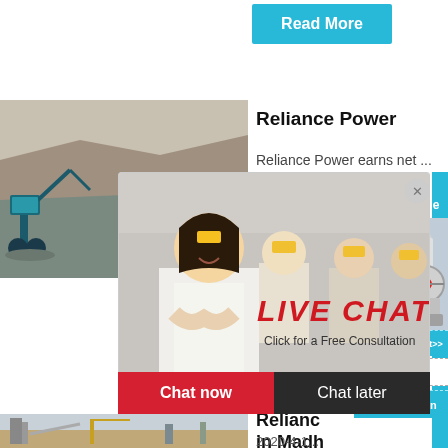[Figure (other): Blue 'Read More' button at top right]
[Figure (photo): Quarry excavation site with machinery and rock face]
Reliance Power
Reliance Power earns net ...
[Figure (photo): Live chat overlay with woman and workers in hard hats, LIVE CHAT text in red italic, Click for a Free Consultation]
[Figure (photo): Industrial crusher machine image on blue sidebar with 'hour online', 'Click me to chat>>', 'Enquiry', and 'limingjlmofen' labels]
[Figure (photo): Mining/processing facility site photo]
Relianc... in Madh... develo...
2020-4-1...